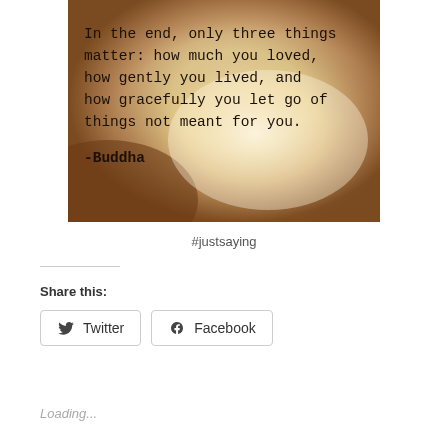[Figure (illustration): A photo of a piece of paper with a typewritten Buddha quote: 'In the end, only three things matter: how much you loved, how gently you lived, and how gracefully you let go of things not meant for you. -Buddha'. The background has warm brown and beige tones.]
#justsaying
Share this:
Twitter
Facebook
Loading...